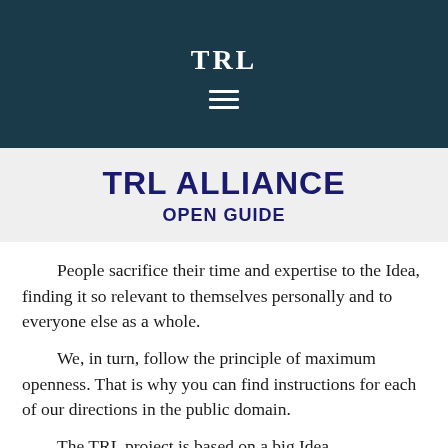TRL
TRL ALLIANCE
OPEN GUIDE
People sacrifice their time and expertise to the Idea, finding it so relevant to themselves personally and to everyone else as a whole.
    We, in turn, follow the principle of maximum openness. That is why you can find instructions for each of our directions in the public domain.
    The TRL project is based on a big Idea...